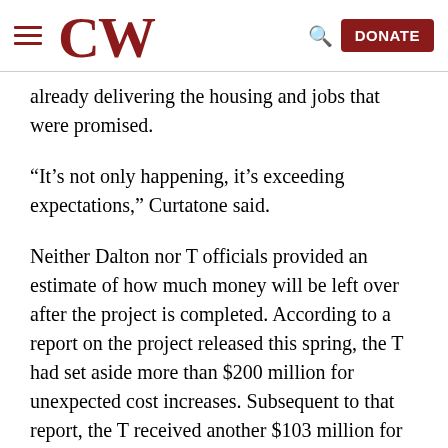CW — navigation bar with hamburger menu, CW logo, search icon, and DONATE button
already delivering the housing and jobs that were promised.
“It’s not only happening, it’s exceeding expectations,” Curtatone said.
Neither Dalton nor T officials provided an estimate of how much money will be left over after the project is completed. According to a report on the project released this spring, the T had set aside more than $200 million for unexpected cost increases. Subsequent to that report, the T received another $103 million for the project from the American Rescue Plan as part of an initiative to help projects previously funded with